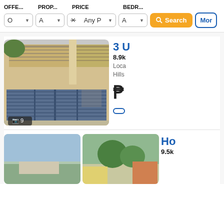OFFE...  PROP...  PRICE  BEDR...
[Figure (screenshot): Search filter bar with dropdowns: O (offer), A (property), Any P (price, with X clear button), A (bedrooms), Search button (orange), More button (blue outline)]
[Figure (photo): Photo of a two-storey residential building with yellow walls, metal gate/fence, balcony railings. Camera icon with count: 9 photos.]
3 U
8.9k
Loca Hills
₱
[Figure (photo): Two partial photos side by side: left shows a building with curved roof, right shows trees and colourful buildings.]
Ho
9.5k